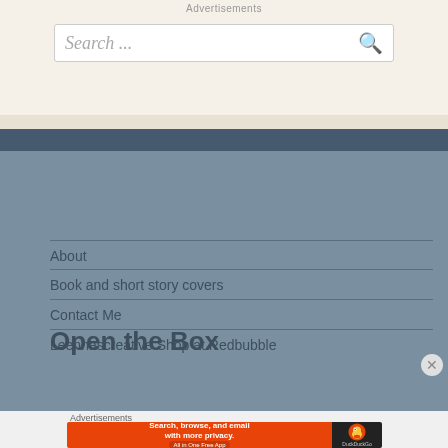Advertisements
Search ...
Open the Box
About
Book and short story covers
Contact Me
Leennascreative Shop at Redbubble
Advertisements
[Figure (screenshot): DuckDuckGo advertisement banner: 'Search, browse, and email with more privacy. All in One Free App' with DuckDuckGo duck logo on dark background]